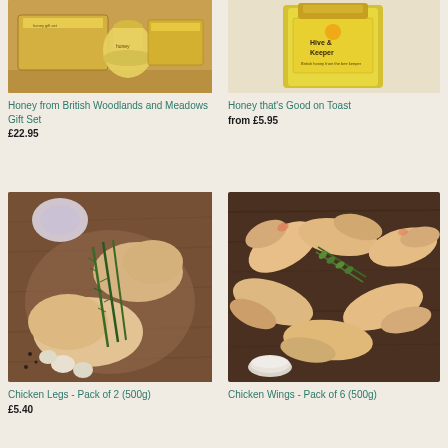[Figure (photo): Honey from British Woodlands and Meadows gift set with jars and boxes on wooden surface]
Honey from British Woodlands and Meadows Gift Set
£22.95
[Figure (photo): Hive & Keeper honey jar - British honey from the bee keeper]
Honey that's Good on Toast
from £5.95
[Figure (photo): Raw chicken legs pack of 2 (500g) on wooden cutting board with rosemary and garlic]
Chicken Legs - Pack of 2 (500g)
£5.40
[Figure (photo): Raw chicken wings pack of 6 (500g) on wooden board with herbs and small bowl of salt]
Chicken Wings - Pack of 6 (500g)